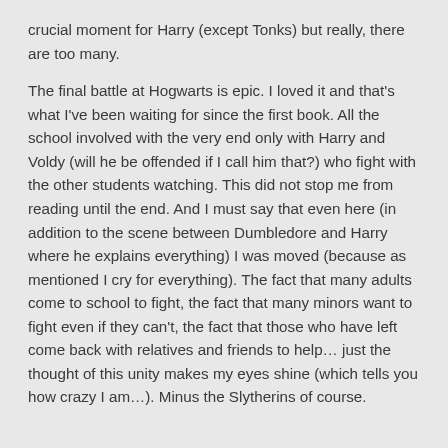crucial moment for Harry (except Tonks) but really, there are too many.

The final battle at Hogwarts is epic. I loved it and that's what I've been waiting for since the first book. All the school involved with the very end only with Harry and Voldy (will he be offended if I call him that?) who fight with the other students watching. This did not stop me from reading until the end. And I must say that even here (in addition to the scene between Dumbledore and Harry where he explains everything) I was moved (because as mentioned I cry for everything). The fact that many adults come to school to fight, the fact that many minors want to fight even if they can't, the fact that those who have left come back with relatives and friends to help… just the thought of this unity makes my eyes shine (which tells you how crazy I am…). Minus the Slytherins of course.